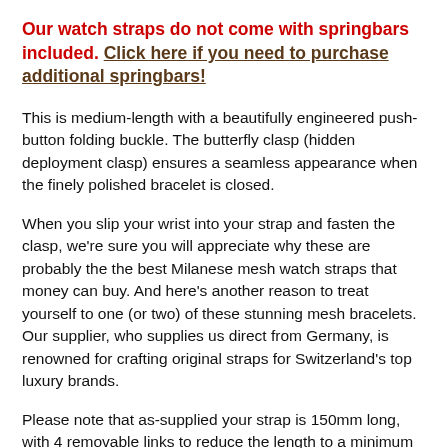Our watch straps do not come with springbars included. Click here if you need to purchase additional springbars!
This is medium-length with a beautifully engineered push-button folding buckle. The butterfly clasp (hidden deployment clasp) ensures a seamless appearance when the finely polished bracelet is closed.
When you slip your wrist into your strap and fasten the clasp, we're sure you will appreciate why these are probably the the best Milanese mesh watch straps that money can buy. And here's another reason to treat yourself to one (or two) of these stunning mesh bracelets. Our supplier, who supplies us direct from Germany, is renowned for crafting original straps for Switzerland's top luxury brands.
Please note that as-supplied your strap is 150mm long, with 4 removable links to reduce the length to a minimum of approximately 130mm. To size the strap you will need to